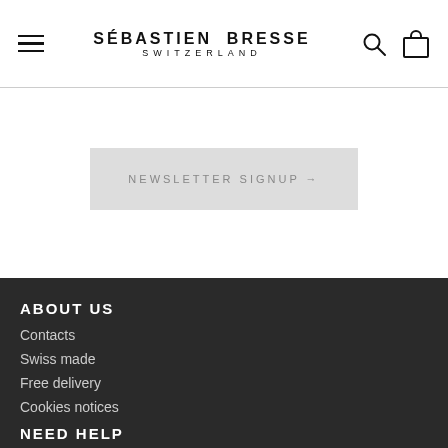SÉBASTIEN BRESSE SWITZERLAND
[Figure (other): Greyed-out button or banner element with faint text, likely a call-to-action or navigation element]
ABOUT US
Contacts
Swiss made
Free delivery
Cookies notices
NEED HELP